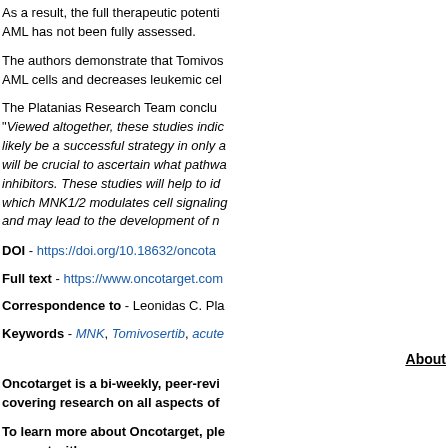As a result, the full therapeutic potential of [truncated] AML has not been fully assessed.
The authors demonstrate that Tomivos[truncated] AML cells and decreases leukemic cel[truncated]
The Platanias Research Team conclu[truncated] "Viewed altogether, these studies indic[truncated] likely be a successful strategy in only a[truncated] will be crucial to ascertain what pathwa[truncated] inhibitors. These studies will help to id[truncated] which MNK1/2 modulates cell signaling[truncated] and may lead to the development of n[truncated]
DOI - https://doi.org/10.18632/oncota[truncated]
Full text - https://www.oncotarget.com[truncated]
Correspondence to - Leonidas C. Pla[truncated]
Keywords - MNK, Tomivosertib, acute[truncated]
About
Oncotarget is a bi-weekly, peer-revi[truncated] covering research on all aspects of [truncated]
To learn more about Oncotarget, ple[truncated] connect with:
SoundCloud - https://soundcloud.com[truncated]